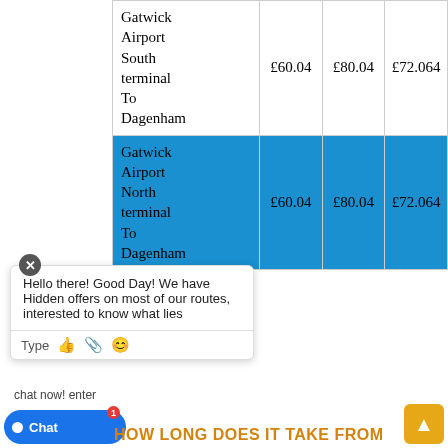| Route | Price 1 | Price 2 | Price 3 |
| --- | --- | --- | --- |
| Gatwick Airport South terminal To Dagenham | £60.04 | £80.04 | £72.064 |
| Gatwick Airport North terminal To Dagenham | £60.04 | £80.04 | £72.064 |
Hello there! Good Day! We have Hidden offers on most of our routes, interested to know what lies ahead? chat now! enter
HOW LONG DOES IT TAKE FROM